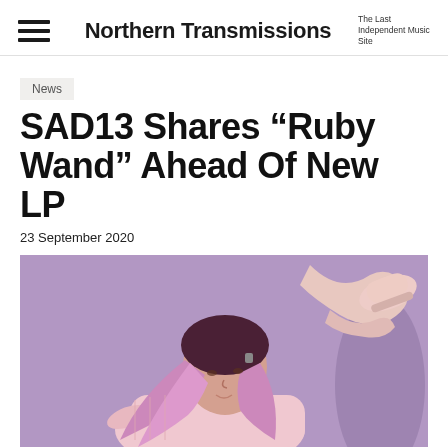Northern Transmissions — The Last Independent Music Site
News
SAD13 Shares “Ruby Wand” Ahead Of New LP
23 September 2020
[Figure (photo): A woman with long purple-pink ombre hair lying on a purple background, wearing a pink outfit and pink shoes raised in the air.]